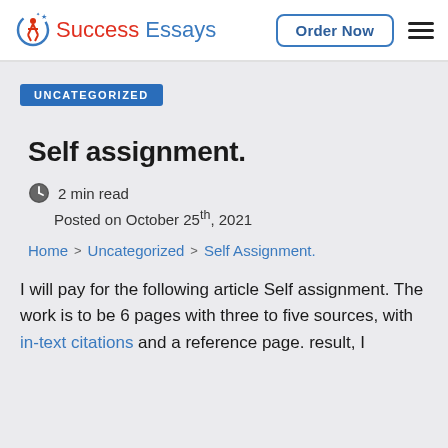Success Essays | Order Now
UNCATEGORIZED
Self assignment.
2 min read
Posted on October 25th, 2021
Home > Uncategorized > Self Assignment.
I will pay for the following article Self assignment. The work is to be 6 pages with three to five sources, with in-text citations and a reference page. result, I